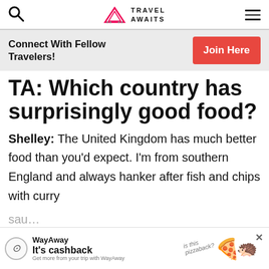TRAVEL AWAITS
Connect With Fellow Travelers! Join Here
TA: Which country has surprisingly good food?
Shelley: The United Kingdom has much better food than you'd expect. I'm from southern England and always hanker after fish and chips with curry sau...
[Figure (other): WayAway advertisement banner: It's cashback. Get more from your trip with WayAway. Shows pizza illustration with 'is this pizzaback?' text.]